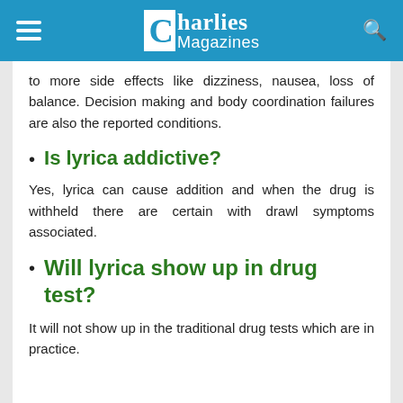Charlies Magazines
to more side effects like dizziness, nausea, loss of balance. Decision making and body coordination failures are also the reported conditions.
Is lyrica addictive?
Yes, lyrica can cause addition and when the drug is withheld there are certain with drawl symptoms associated.
Will lyrica show up in drug test?
It will not show up in the traditional drug tests which are in practice.